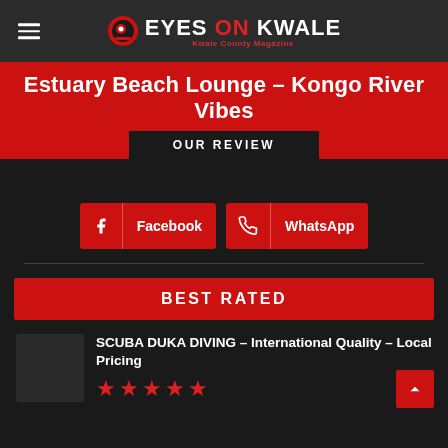EYES ON KWALE – Kwale County Magazine
Estuary Beach Lounge – Kongo River Vibes
OUR REVIEW
[Figure (infographic): Facebook and WhatsApp share buttons on dark background]
BEST RATED
SCUBA DUKA DIVING – International Quality – Local Pricing
[Figure (infographic): 5 red star rating icons]